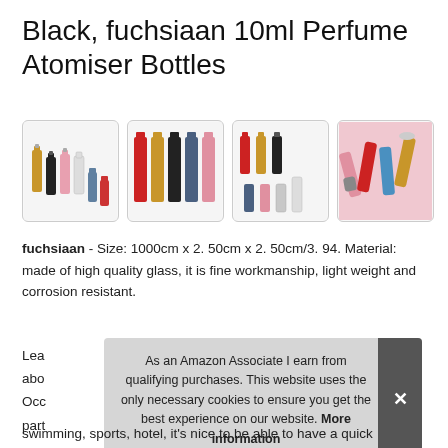Black, fuchsiaan 10ml Perfume Atomiser Bottles
[Figure (photo): Four product images showing sets of 10ml perfume atomiser bottles in various colors including gold, black, pink, white, blue, red]
fuchsiaan - Size: 1000cm x 2. 50cm x 2. 50cm/3. 94. Material: made of high quality glass, it is fine workmanship, light weight and corrosion resistant.
Lea abo Occ part
As an Amazon Associate I earn from qualifying purchases. This website uses the only necessary cookies to ensure you get the best experience on our website. More information
swimming, sports, hotel, it's nice to be able to have a quick